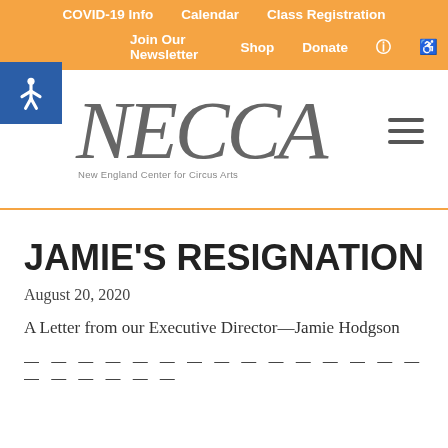COVID-19 Info  Calendar  Class Registration  Join Our Newsletter  Shop  Donate
[Figure (logo): NECCA logo with handwritten-style text and tagline 'New England Center for Circus Arts']
JAMIE'S RESIGNATION
August 20, 2020
A Letter from our Executive Director—Jamie Hodgson
— — — — — — — — — — — — — — — — — — — — —